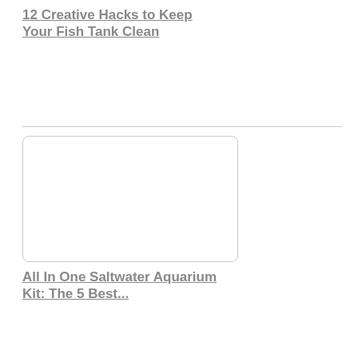12 Creative Hacks to Keep Your Fish Tank Clean
[Figure (other): Blank white card/image placeholder with rounded corners and light border]
All In One Saltwater Aquarium Kit: The 5 Best...